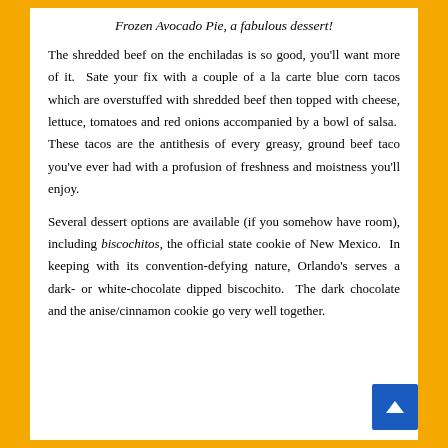Frozen Avocado Pie, a fabulous dessert!
The shredded beef on the enchiladas is so good, you'll want more of it.  Sate your fix with a couple of a la carte blue corn tacos which are overstuffed with shredded beef then topped with cheese, lettuce, tomatoes and red onions accompanied by a bowl of salsa.  These tacos are the antithesis of every greasy, ground beef taco you've ever had with a profusion of freshness and moistness you'll enjoy.
Several dessert options are available (if you somehow have room), including biscochitos, the official state cookie of New Mexico.  In keeping with its convention-defying nature, Orlando's serves a dark- or white-chocolate dipped biscochito.  The dark chocolate and the anise/cinnamon cookie go very well together.